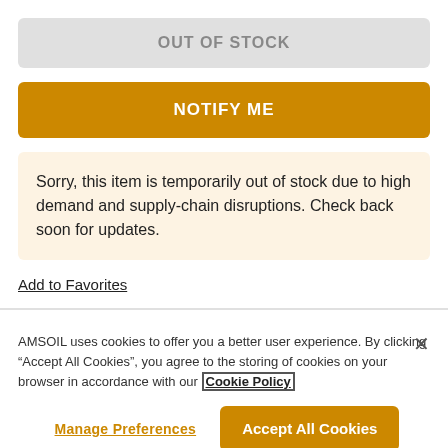OUT OF STOCK
NOTIFY ME
Sorry, this item is temporarily out of stock due to high demand and supply-chain disruptions. Check back soon for updates.
Add to Favorites
AMSOIL uses cookies to offer you a better user experience. By clicking “Accept All Cookies”, you agree to the storing of cookies on your browser in accordance with our Cookie Policy
Manage Preferences
Accept All Cookies